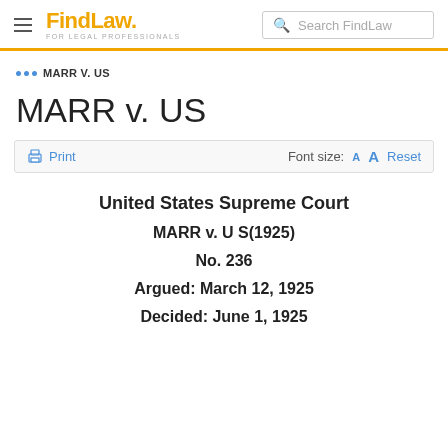FindLaw FOR LEGAL PROFESSIONALS | Search FindLaw
••• MARR V. US
MARR v. US
Print | Font size: A A Reset
United States Supreme Court
MARR v. U S(1925)
No. 236
Argued: March 12, 1925
Decided: June 1, 1925